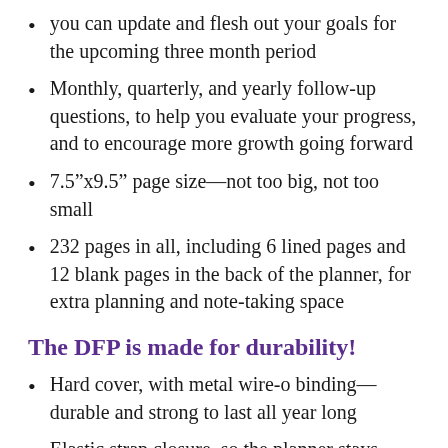you can update and flesh out your goals for the upcoming three month period
Monthly, quarterly, and yearly follow-up questions, to help you evaluate your progress, and to encourage more growth going forward
7.5”x9.5” page size—not too big, not too small
232 pages in all, including 6 lined pages and 12 blank pages in the back of the planner, for extra planning and note-taking space
The DFP is made for durability!
Hard cover, with metal wire-o binding—durable and strong to last all year long
Elastic strap closure, so the planner stays securely closed when in transit to work, school, or